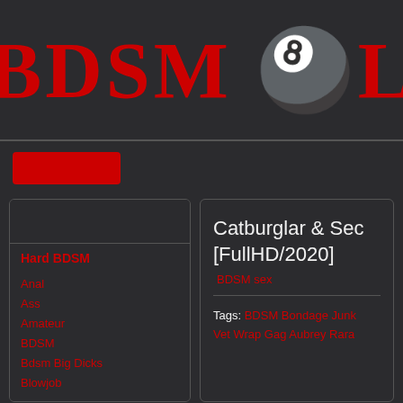[Figure (logo): BDSM site logo with large bold red stylized text 'BDSM' and a logo symbol on dark background]
Hard BDSM
Anal
Ass
Amateur
BDSM
Bdsm Big Dicks
Blowjob
Catburglar & Sec [FullHD/2020]
BDSM sex
Tags: BDSM Bondage Junk Vet Wrap Gag Aubrey Rara